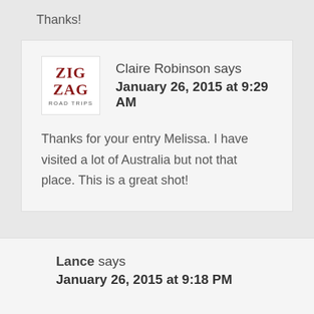Thanks!
Claire Robinson says
January 26, 2015 at 9:29 AM
Thanks for your entry Melissa. I have visited a lot of Australia but not that place. This is a great shot!
Lance says
January 26, 2015 at 9:18 PM